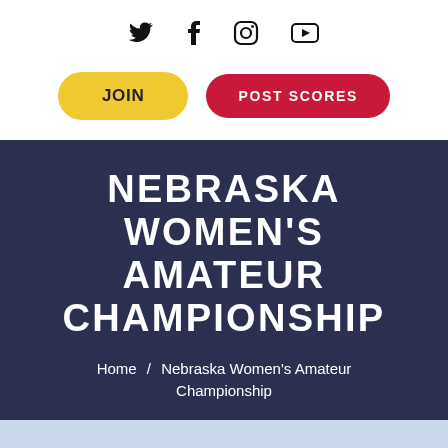[Figure (infographic): Social media icons: Twitter, Facebook, Instagram, YouTube]
JOIN
POST SCORES
NEBRASKA WOMEN'S AMATEUR CHAMPIONSHIP
Home / Nebraska Women's Amateur Championship